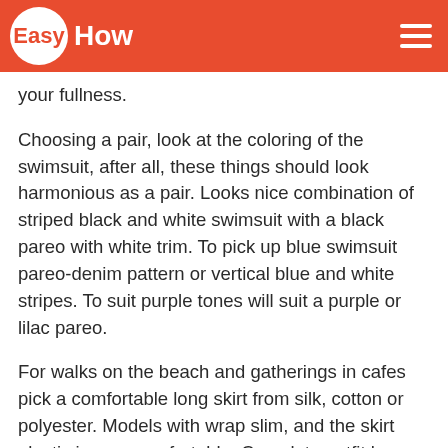EasyHow
your fullness.
Choosing a pair, look at the coloring of the swimsuit, after all, these things should look harmonious as a pair. Looks nice combination of striped black and white swimsuit with a black pareo with white trim. To pick up blue swimsuit pareo-denim pattern or vertical blue and white stripes. To suit purple tones will suit a purple or lilac pareo.
For walks on the beach and gatherings in cafes pick a comfortable long skirt from silk, cotton or polyester. Models with wrap slim, and the skirt elastic is very comfortable. Complete outfit loose blouse made of translucent fabric. It can be worn buttoned or undone. If you love dresses, try a free model shirt is cut with slits on the sides. These dresses are made of cotton, silk or linen can be